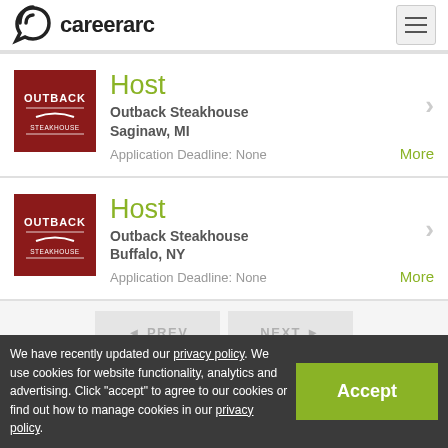careerarc
Host
Outback Steakhouse
Saginaw, MI
Application Deadline: None
Host
Outback Steakhouse
Buffalo, NY
Application Deadline: None
We have recently updated our privacy policy. We use cookies for website functionality, analytics and advertising. Click "accept" to agree to our cookies or find out how to manage cookies in our privacy policy.